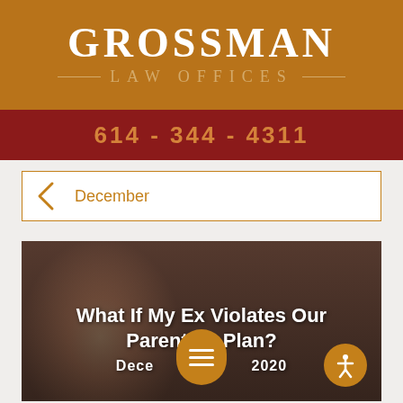GROSSMAN LAW OFFICES
614-344-4311
December
[Figure (photo): Background photo of a sad child/girl with blurred adult figures in background, overlaid with article title 'What If My Ex Violates Our Parenting Plan?' and date 'December 2020']
What If My Ex Violates Our Parenting Plan?
December 2020